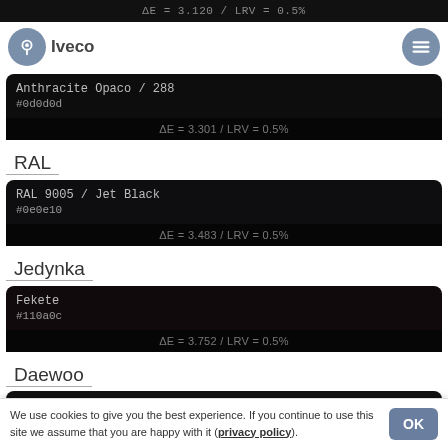ΔE = 3.120 / LRV = 0.5%
Iveco
Anthracite Opaco / 288
#0d0d0d
ΔE = 3.301 / LRV = 0.5%
RAL
RAL 9005 / Jet Black
#0e0e10
ΔE = 3.483 / LRV = 0.5%
Jedynka
Fekete
#110a0c
ΔE = 3.752 / LRV = 0.5%
Daewoo
We use cookies to give you the best experience. If you continue to use this site we assume that you are happy with it (privacy policy).